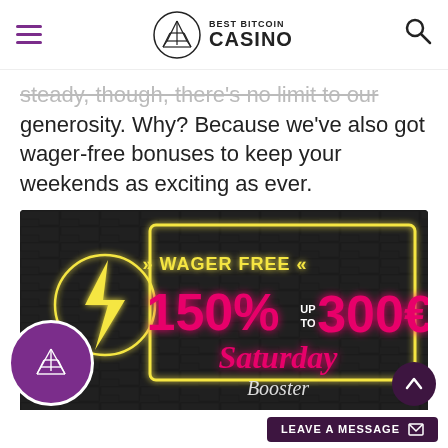BEST BITCOIN CASINO
steady, though, there's no limit to our generosity. Why? Because we've also got wager-free bonuses to keep your weekends as exciting as ever.
[Figure (photo): Dark brick wall background with neon yellow lightning bolt in circle on left. Text reads: WAGER FREE, 150% UP TO 300€, Saturday Booster in pink/magenta neon style lettering inside a yellow neon rectangle frame.]
LEAVE A MESSAGE